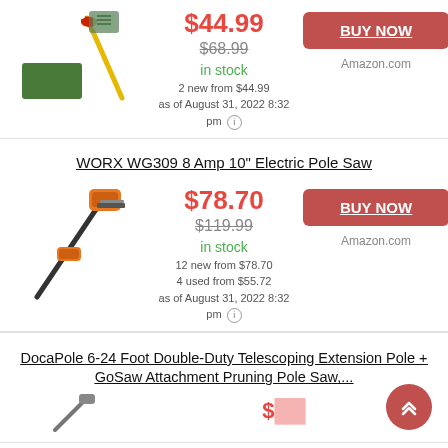[Figure (photo): Pole pruning saw product image with green mat, red/gold telescoping pole, and accessories]
$44.99 $68.99 in stock 2 new from $44.99 as of August 31, 2022 8:32 pm
BUY NOW Amazon.com
WORX WG309 8 Amp 10" Electric Pole Saw
[Figure (photo): WORX electric pole saw product image, orange and black design]
$78.70 $119.99 in stock 12 new from $78.70 4 used from $55.72 as of August 31, 2022 8:32 pm
BUY NOW Amazon.com
DocaPole 6-24 Foot Double-Duty Telescoping Extension Pole + GoSaw Attachment Pruning Pole Saw,...